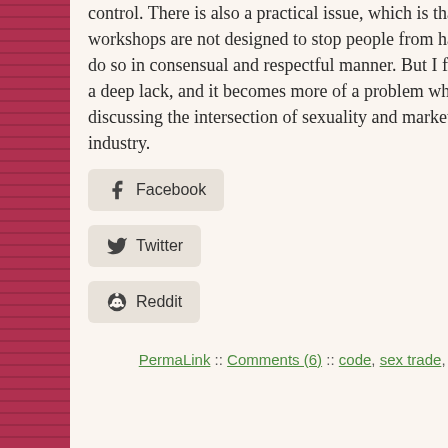control. There is also a practical issue, which is that consent workshops are not designed to stop people from having sex, but to do so in consensual and respectful manner. But I feel that there is a deep lack, and it becomes more of a problem when we are discussing the intersection of sexuality and market, that is the sex industry.
Facebook | Twitter | Reddit (share buttons)
PermaLink :: Comments (6) :: code, sex trade, violence ::